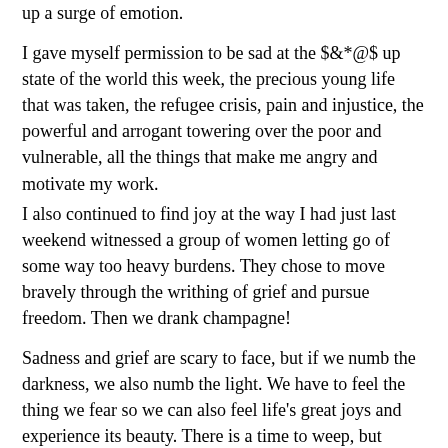up a surge of emotion.
I gave myself permission to be sad at the $&*@$ up state of the world this week, the precious young life that was taken, the refugee crisis, pain and injustice, the powerful and arrogant towering over the poor and vulnerable, all the things that make me angry and motivate my work.
I also continued to find joy at the way I had just last weekend witnessed a group of women letting go of some way too heavy burdens. They chose to move bravely through the writhing of grief and pursue freedom. Then we drank champagne!
Sadness and grief are scary to face, but if we numb the darkness, we also numb the light. We have to feel the thing we fear so we can also feel life's great joys and experience its beauty. There is a time to weep, but